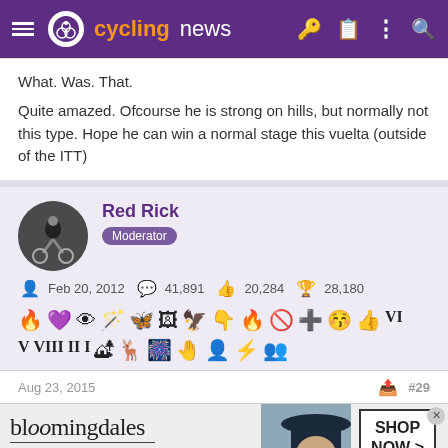cyclingnews
What. Was. That.
Quite amazed. Ofcourse he is strong on hills, but normally not this type. Hope he can win a normal stage this vuelta (outside of the ITT)
Red Rick
Moderator
Feb 20, 2012   41,891   20,284   28,180
[Figure (photo): Cycling user avatar showing a cyclist]
Aug 23, 2015   #29
[Figure (other): Bloomingdale's advertisement: View Today's Top Deals! SHOP NOW >]